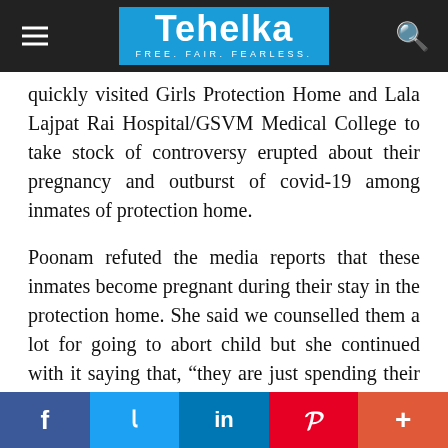Tehelka — FREE. FAIR. FEARLESS.
quickly visited Girls Protection Home and Lala Lajpat Rai Hospital/GSVM Medical College to take stock of controversy erupted about their pregnancy and outburst of covid-19 among inmates of protection home.
Poonam refuted the media reports that these inmates become pregnant during their stay in the protection home. She said we counselled them a lot for going to abort child but she continued with it saying that, "they are just spending their days to turn major so that they walk free and have their partners released from jails."
(The text is truncated at bottom of page)
[Figure (infographic): Social media share bar with Facebook, Twitter, LinkedIn, Pinterest, and More (+) buttons]